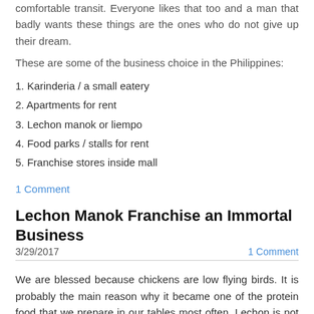comfortable transit. Everyone likes that too and a man that badly wants these things are the ones who do not give up their dream.
These are some of the business choice in the Philippines:
1. Karinderia / a small eatery
2. Apartments for rent
3. Lechon manok or liempo
4. Food parks / stalls for rent
5. Franchise stores inside mall
1 Comment
Lechon Manok Franchise an Immortal Business
3/29/2017    1 Comment
We are blessed because chickens are low flying birds. It is probably the main reason why it became one of the protein food that we prepare in our tables most often. Lechon is not a new music that we hear. In fact, it is popular around the world just having different versions of cooking, seasoning and flavors. A good spot for a lechon